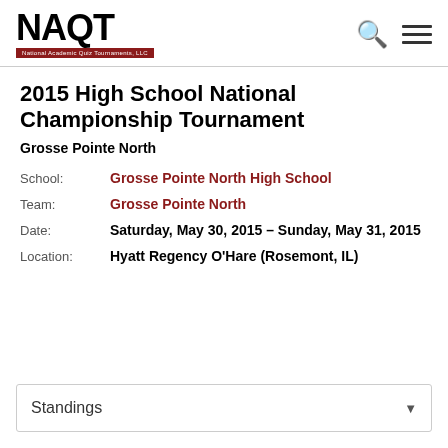NAQT — National Academic Quiz Tournaments, LLC
2015 High School National Championship Tournament
Grosse Pointe North
School: Grosse Pointe North High School
Team: Grosse Pointe North
Date: Saturday, May 30, 2015 – Sunday, May 31, 2015
Location: Hyatt Regency O'Hare (Rosemont, IL)
Standings